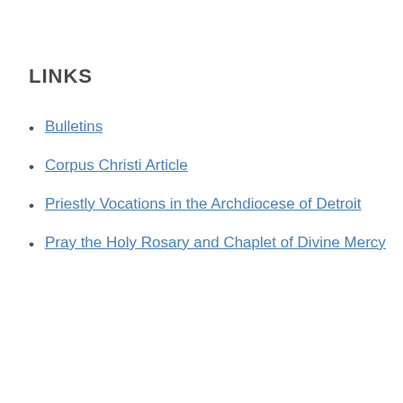LINKS
Bulletins
Corpus Christi Article
Priestly Vocations in the Archdiocese of Detroit
Pray the Holy Rosary and Chaplet of Divine Mercy